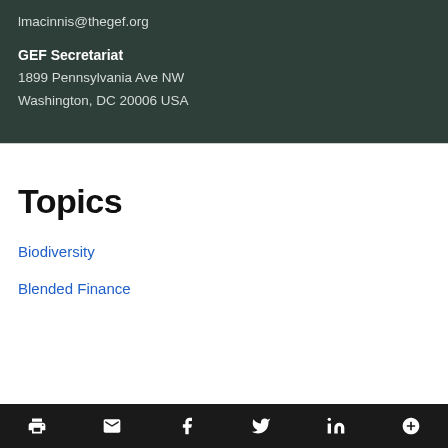lmacinnis@thegef.org
GEF Secretariat
1899 Pennsylvania Ave NW
Washington, DC 20006 USA
Topics
Biodiversity
Blended Finance
[icons: print, email, facebook, twitter, linkedin, more]